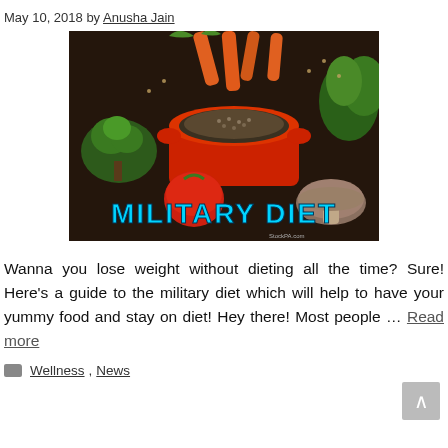May 10, 2018 by Anusha Jain
[Figure (photo): Food photograph showing vegetables (carrots, broccoli, tomato), a red ceramic bowl with grain/seeds, mushrooms, and herbs on a dark background. Text overlay reads 'MILITARY DIET' in cyan/blue bold letters at the bottom.]
Wanna you lose weight without dieting all the time? Sure! Here's a guide to the military diet which will help to have your yummy food and stay on diet! Hey there! Most people … Read more
Wellness, News